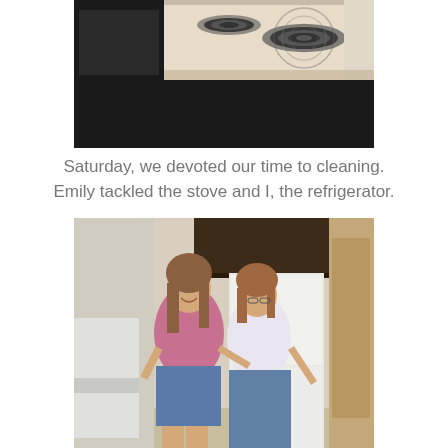[Figure (photo): Close-up photo of a white electric stove top with coil burners, viewed from an angle showing the burners and the side of the appliance.]
Saturday, we devoted our time to cleaning. Emily tackled the stove and I, the refrigerator.
[Figure (photo): Two women standing together in a kitchen/apartment, smiling. One wearing a pink top and denim shorts, the other in a white tank top and jeans. A white refrigerator is visible behind them.]